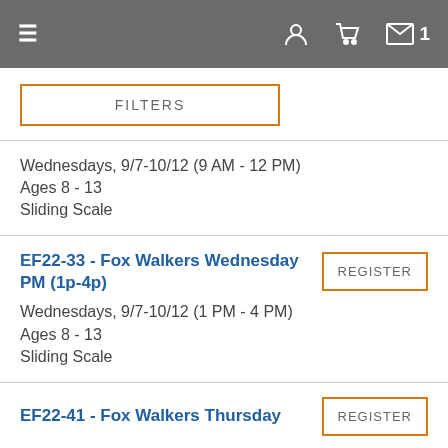≡  [user icon]  [cart icon]  [mail icon] 1
FILTERS
Wednesdays, 9/7-10/12 (9 AM - 12 PM)
Ages 8 - 13
Sliding Scale
EF22-33 - Fox Walkers Wednesday PM (1p-4p)
Wednesdays, 9/7-10/12 (1 PM - 4 PM)
Ages 8 - 13
Sliding Scale
EF22-41 - Fox Walkers Thursday